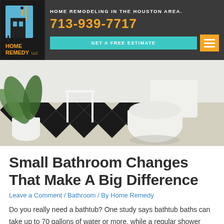HOME REMODELING IN THE HOUSTON AREA. 713-939-7717 GET A FREE ESTIMATE
[Figure (photo): Bathroom interior with black and white checkered tile floor, white toilet, white stool, and potted plant]
Small Bathroom Changes That Make A Big Difference
Leave a Comment / Bathroom / By Home Remedy
Do you really need a bathtub? One study says bathtub baths can take up to 70 gallons of water or more, while a regular shower consumes only 25 gallons or less. That factored in, you save more